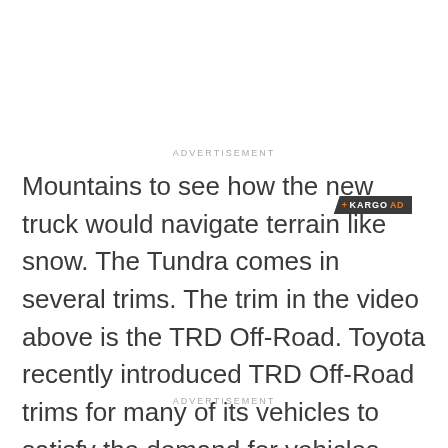[Figure (logo): Kargo Ad badge — dark grey background with orange plus sign, white KARGO text, orange AD text]
ADVERTISEMENT
Mountains to see how the new truck would navigate terrain like snow. The Tundra comes in several trims. The trim in the video above is the TRD Off-Road. Toyota recently introduced TRD Off-Road trims for many of its vehicles to satisfy the demand for vehicles with off-roading capabilities.
ADVERTISEMENT